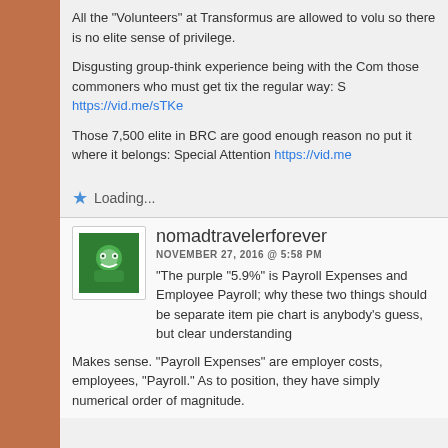All the “Volunteers” at Transformus are allowed to volu so there is no elite sense of privilege.
Disgusting group-think experience being with the Com those commoners who must get tix the regular way: S https://vid.me/sTKe
Those 7,500 elite in BRC are good enough reason no put it where it belongs: Special Attention https://vid.me
Loading...
nomadtravelerforever
NOVEMBER 27, 2016 @ 5:58 PM
“The purple “5.9%” is Payroll Expenses and Employee Payroll; why these two things should be separate item pie chart is anybody’s guess, but clear understanding
Makes sense. “Payroll Expenses” are employer costs, employees, “Payroll.” As to position, they have simply numerical order of magnitude.